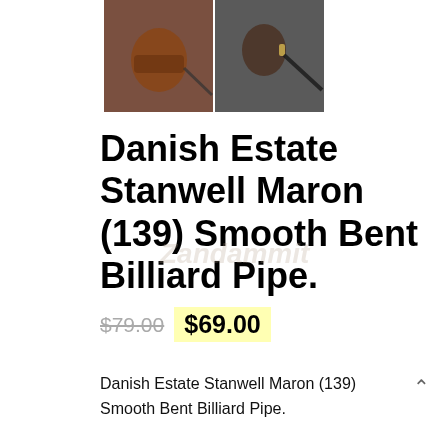[Figure (photo): Two photos of a tobacco pipe (Stanwell Maron bent billiard pipe) side by side against a grey background.]
Danish Estate Stanwell Maron (139) Smooth Bent Billiard Pipe.
$79.00 $69.00
Danish Estate Stanwell Maron (139) Smooth Bent Billiard Pipe.